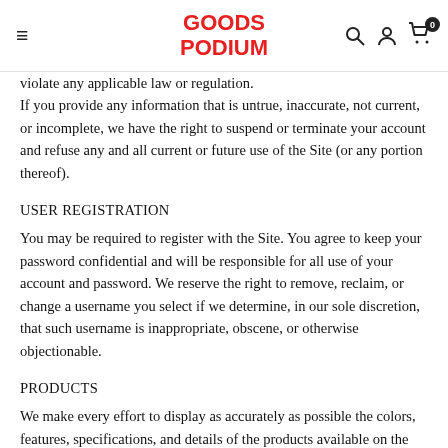GOODS PODIUM
violate any applicable law or regulation.
If you provide any information that is untrue, inaccurate, not current, or incomplete, we have the right to suspend or terminate your account and refuse any and all current or future use of the Site (or any portion thereof).
USER REGISTRATION
You may be required to register with the Site. You agree to keep your password confidential and will be responsible for all use of your account and password. We reserve the right to remove, reclaim, or change a username you select if we determine, in our sole discretion, that such username is inappropriate, obscene, or otherwise objectionable.
PRODUCTS
We make every effort to display as accurately as possible the colors, features, specifications, and details of the products available on the Site. However, we do not